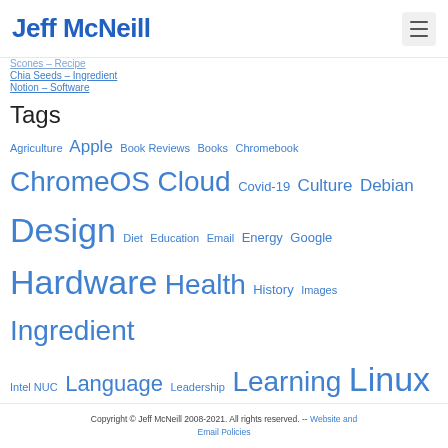Jeff McNeill
Scones – Recipe
Chia Seeds – Ingredient
Notion – Software
Tags
Agriculture Apple Book Reviews Books Chromebook ChromeOS Cloud Covid-19 Culture Debian Design Diet Education Email Energy Google Hardware Health History Images Ingredient Intel NUC Language Leadership Learning Linux LXDE Machine Learning Networking News Organization OSX Parenting Printing Recipe Security Software Space Style Guides Tanka Technical Web Thai Thailand Wordpress Xiaomi
Copyright © Jeff McNeill 2008-2021. All rights reserved. -- Website and Email Policies